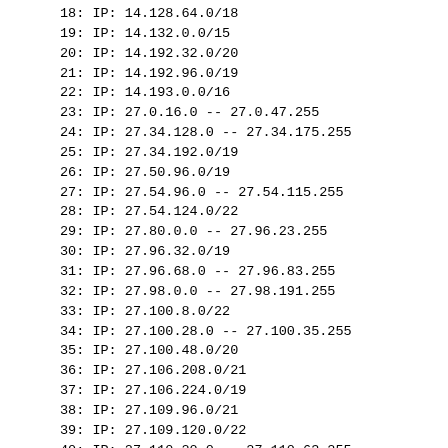18: IP: 14.128.64.0/18
19: IP: 14.132.0.0/15
20: IP: 14.192.32.0/20
21: IP: 14.192.96.0/19
22: IP: 14.193.0.0/16
23: IP: 27.0.16.0 -- 27.0.47.255
24: IP: 27.34.128.0 -- 27.34.175.255
25: IP: 27.34.192.0/19
26: IP: 27.50.96.0/19
27: IP: 27.54.96.0 -- 27.54.115.255
28: IP: 27.54.124.0/22
29: IP: 27.80.0.0 -- 27.96.23.255
30: IP: 27.96.32.0/19
31: IP: 27.96.68.0 -- 27.96.83.255
32: IP: 27.98.0.0 -- 27.98.191.255
33: IP: 27.100.8.0/22
34: IP: 27.100.28.0 -- 27.100.35.255
35: IP: 27.100.48.0/20
36: IP: 27.106.208.0/21
37: IP: 27.106.224.0/19
38: IP: 27.109.96.0/21
39: IP: 27.109.120.0/22
40: IP: 27.110.20.0 -- 27.110.63.255
41: IP: 27.110.96.0 -- 27.110.119.255
42: IP: 27.112.124.0/22
43: IP: 27.113.192.0 -- 27.113.239.255
44: IP: 27.113.248.0/22
45: IP: 27.114.0.0/17
46: IP: 27.116.0.0/20
47: IP: 27.116.24.0/21